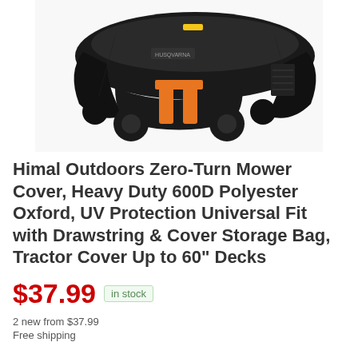[Figure (photo): Photo of a black zero-turn lawn mower cover draped over an orange and black zero-turn mower, viewed from the front/underside angle showing the mower's wheels and orange frame components.]
Himal Outdoors Zero-Turn Mower Cover, Heavy Duty 600D Polyester Oxford, UV Protection Universal Fit with Drawstring & Cover Storage Bag, Tractor Cover Up to 60" Decks
$37.99 in stock
2 new from $37.99
Free shipping